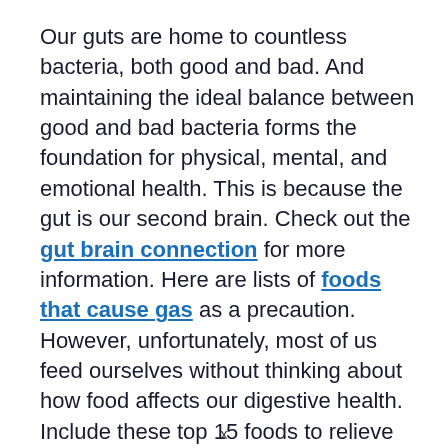Our guts are home to countless bacteria, both good and bad. And maintaining the ideal balance between good and bad bacteria forms the foundation for physical, mental, and emotional health. This is because the gut is our second brain. Check out the gut brain connection for more information. Here are lists of foods that cause gas as a precaution. However, unfortunately, most of us feed ourselves without thinking about how food affects our digestive health. Include these top 15 foods to relieve gas in your diet.
x